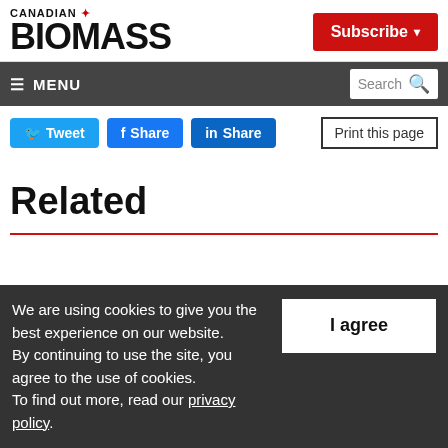CANADIAN BIOMASS | Subscribe
≡ MENU | Search
Tweet | Share | Share | Print this page
Related
We are using cookies to give you the best experience on our website. By continuing to use the site, you agree to the use of cookies. To find out more, read our privacy policy.